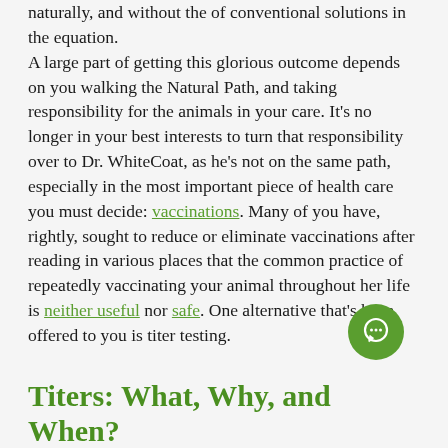naturally, and without the of conventional solutions in the equation.
A large part of getting this glorious outcome depends on you walking the Natural Path, and taking responsibility for the animals in your care. It's no longer in your best interests to turn that responsibility over to Dr. WhiteCoat, as he's not on the same path, especially in the most important piece of health care you must decide: vaccinations. Many of you have, rightly, sought to reduce or eliminate vaccinations after reading in various places that the common practice of repeatedly vaccinating your animal throughout her life is neither useful nor safe. One alternative that's been offered to you is titer testing.
Titers: What, Why, and When?